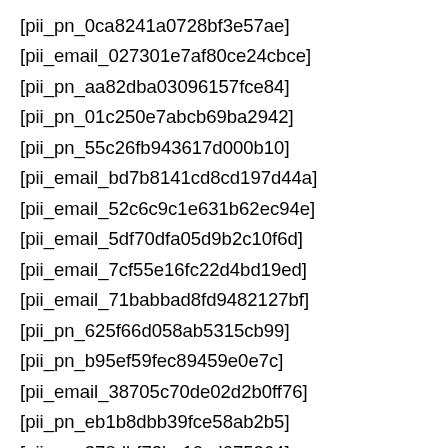[pii_pn_0ca8241a0728bf3e57ae]
[pii_email_027301e7af80ce24cbce]
[pii_pn_aa82dba03096157fce84]
[pii_pn_01c250e7abcb69ba2942]
[pii_pn_55c26fb943617d000b10]
[pii_email_bd7b8141cd8cd197d44a]
[pii_email_52c6c9c1e631b62ec94e]
[pii_email_5df70dfa05d9b2c10f6d]
[pii_email_7cf55e16fc22d4bd19ed]
[pii_email_71babbad8fd9482127bf]
[pii_pn_625f66d058ab5315cb99]
[pii_pn_b95ef59fec89459e0e7c]
[pii_email_38705c70de02d2b0ff76]
[pii_pn_eb1b8dbb39fce58ab2b5]
[pii_pn_378dbf73ba10cd075364]
[pii_email_edbf2ef488eef71fe0f8]